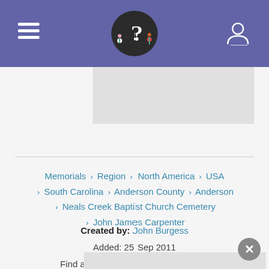Find a Grave header with logo and navigation
[Figure (screenshot): Gray image placeholder area at top]
Memorials › Region › North America › USA › South Carolina › Anderson County › Anderson › Neals Creek Baptist Church Cemetery › John James Carpenter
Created by: John Burgess
Added: 25 Sep 2011
Find a Grave Memorial ID: 77077245
Source citation
[Figure (photo): Gray image placeholder area at bottom]